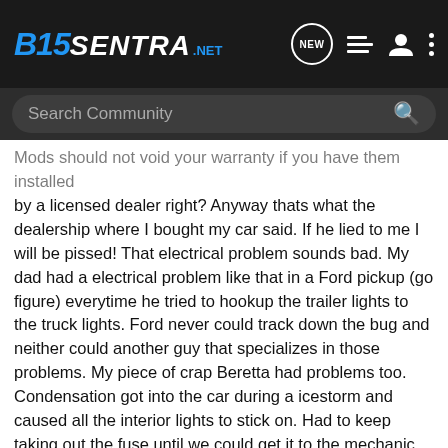B15 SENTRA .NET
Search Community
Mods should not void your warranty if you have them installed by a licensed dealer right? Anyway thats what the dealership where I bought my car said. If he lied to me I will be pissed! That electrical problem sounds bad. My dad had a electrical problem like that in a Ford pickup (go figure) everytime he tried to hookup the trailer lights to the truck lights. Ford never could track down the bug and neither could another guy that specializes in those problems. My piece of crap Beretta had problems too. Condensation got into the car during a icestorm and caused all the interior lights to stick on. Had to keep taking out the fuse until we could get it to the mechanic. Never got that fixed right either, had to jerry rig the map lights with a on/off switch, let the floor bulbs burn out, and something else strange happened then, the damn clock in the CD player wouldn't come up anymore. Everything else on it worked though Good luck